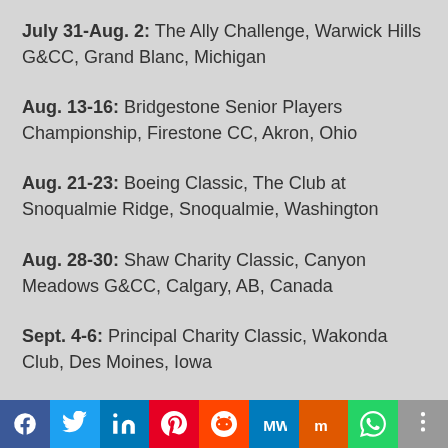July 31-Aug. 2: The Ally Challenge, Warwick Hills G&CC, Grand Blanc, Michigan
Aug. 13-16: Bridgestone Senior Players Championship, Firestone CC, Akron, Ohio
Aug. 21-23: Boeing Classic, The Club at Snoqualmie Ridge, Snoqualmie, Washington
Aug. 28-30: Shaw Charity Classic, Canyon Meadows G&CC, Calgary, AB, Canada
Sept. 4-6: Principal Charity Classic, Wakonda Club, Des Moines, Iowa